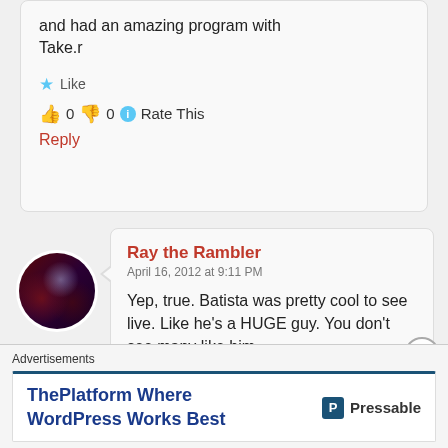and had an amazing program with Take.r
Like
👍 0 👎 0 ℹ Rate This
Reply
Ray the Rambler
April 16, 2012 at 9:11 PM
Yep, true. Batista was pretty cool to see live. Like he's a HUGE guy. You don't see many like him.
Like
Advertisements
ThePlatform Where WordPress Works Best — Pressable